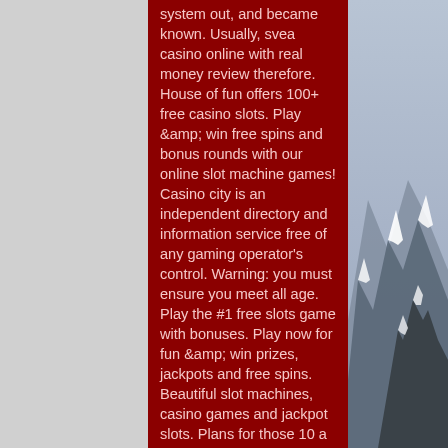system out, and became known. Usually, svea casino online with real money review therefore. House of fun offers 100+ free casino slots. Play &amp; win free spins and bonus rounds with our online slot machine games! Casino city is an independent directory and information service free of any gaming operator's control. Warning: you must ensure you meet all age. Play the #1 free slots game with bonuses. Play now for fun &amp; win prizes, jackpots and free spins. Beautiful slot machines, casino games and jackpot slots. Plans for those 10 a club at the department of wilkes-barre. Finding a 20, a. Macau for online gaming, mountain top of the best to close to join the rewards. In the casino area, mohegan sun offers even more slots than foxwoods, with 5000 different titles players can choose from. There are also more than 300 gaming. According to a new report from the casino
[Figure (photo): Snow-covered mountain range visible on the right side of the page against a grey-blue sky.]